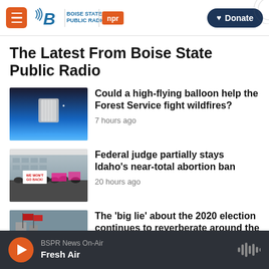Boise State Public Radio | NPR | Donate
The Latest From Boise State Public Radio
[Figure (photo): High-altitude balloon above Earth with silver metallic structure visible against blue sky]
Could a high-flying balloon help the Forest Service fight wildfires?
7 hours ago
[Figure (photo): Protest crowd holding signs reading WE WON'T GO BACK outside a government building]
Federal judge partially stays Idaho's near-total abortion ban
20 hours ago
[Figure (photo): Building exterior with flags, partially visible]
The 'big lie' about the 2020 election continues to reverberate around the
BSPR News On-Air | Fresh Air